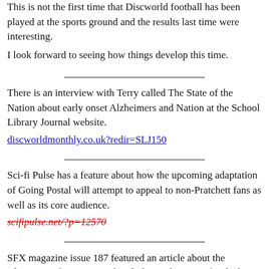This is not the first time that Discworld football has been played at the sports ground and the results last time were interesting.
I look forward to seeing how things develop this time.
There is an interview with Terry called The State of the Nation about early onset Alzheimers and Nation at the School Library Journal website.
discworldmonthly.co.uk?redir=SLJ150
Sci-fi Pulse has a feature about how the upcoming adaptation of Going Postal will attempt to appeal to non-Pratchett fans as well as its core audience.
scifipulse.net/?p=12570
SFX magazine issue 187 featured an article about the adaptation of Going Postal including a drawing of a clacks tower and a photo of Richard Coyle as Moist Von Lipwig.